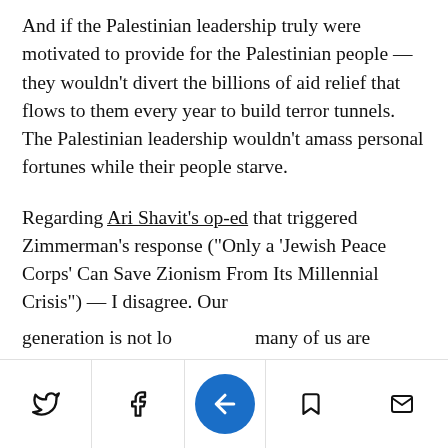And if the Palestinian leadership truly were motivated to provide for the Palestinian people — they wouldn't divert the billions of aid relief that flows to them every year to build terror tunnels. The Palestinian leadership wouldn't amass personal fortunes while their people starve.
Regarding Ari Shavit's op-ed that triggered Zimmerman's response ("Only a 'Jewish Peace Corps' Can Save Zionism From Its Millennial Crisis") — I disagree. Our generation is not lo… many of us are
[social share bar with Twitter, Facebook, bookmark, share icons]